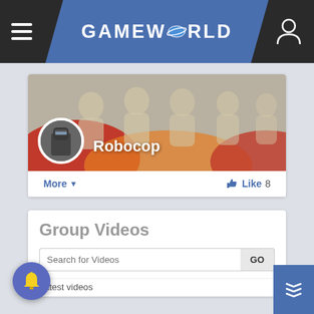GAMEWORLD
[Figure (screenshot): Robocop group profile banner with avatar and silhouette background]
More ∨
Like 8
Group Videos
Search for Videos
GO
Latest videos